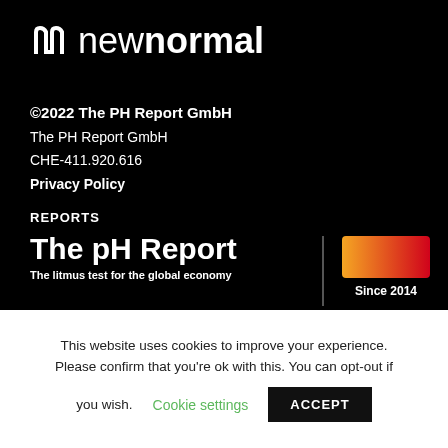[Figure (logo): New Normal logo: stylized 'n' icon followed by text 'newnormal' in white on black background]
©2022 The PH Report GmbH
The PH Report GmbH
CHE-411.920.616
Privacy Policy
REPORTS
[Figure (logo): The pH Report logo with gradient orange-red rectangle and text 'The pH Report', subtitle 'The litmus test for the global economy', 'Since 2014']
This website uses cookies to improve your experience. Please confirm that you're ok with this. You can opt-out if you wish.
Cookie settings
ACCEPT